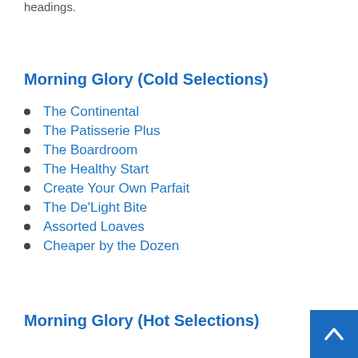headings.
Morning Glory (Cold Selections)
The Continental
The Patisserie Plus
The Boardroom
The Healthy Start
Create Your Own Parfait
The De'Light Bite
Assorted Loaves
Cheaper by the Dozen
Morning Glory (Hot Selections)